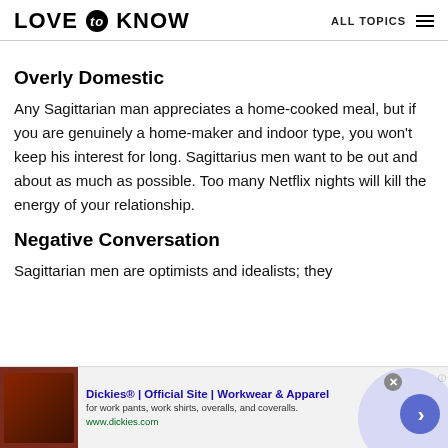LOVE to KNOW  ALL TOPICS
Overly Domestic
Any Sagittarian man appreciates a home-cooked meal, but if you are genuinely a home-maker and indoor type, you won't keep his interest for long. Sagittarius men want to be out and about as much as possible. Too many Netflix nights will kill the energy of your relationship.
Negative Conversation
Sagittarian men are optimists and idealists; they
[Figure (screenshot): Advertisement banner for Dickies Official Site - Workwear & Apparel. Shows a leather chair image on the left, ad text in the center, and a blue arrow button on the right. Includes close button.]